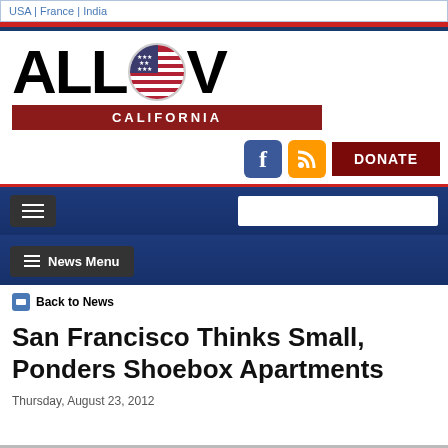USA | France | India
[Figure (logo): AllGov California logo with US flag globe replacing the letter O, red California bar below]
[Figure (infographic): Facebook icon, RSS feed icon, and DONATE button]
[Figure (screenshot): Navigation bar with hamburger menu and search box]
[Figure (screenshot): News Menu button bar]
Back to News
San Francisco Thinks Small, Ponders Shoebox Apartments
Thursday, August 23, 2012